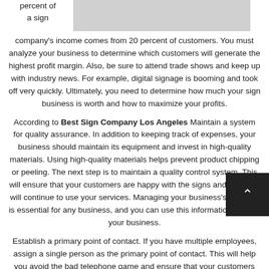percent of a sign company's income comes from 20 percent of customers. You must analyze your business to determine which customers will generate the highest profit margin. Also, be sure to attend trade shows and keep up with industry news. For example, digital signage is booming and took off very quickly. Ultimately, you need to determine how much your sign business is worth and how to maximize your profits.
[Figure (photo): Gray rectangular image placeholder at top right of page]
According to Best Sign Company Los Angeles Maintain a system for quality assurance. In addition to keeping track of expenses, your business should maintain its equipment and invest in high-quality materials. Using high-quality materials helps prevent product chipping or peeling. The next step is to maintain a quality control system. This will ensure that your customers are happy with the signs and that they will continue to use your services. Managing your business's finances is essential for any business, and you can use this information to grow your business.
Establish a primary point of contact. If you have multiple employees, assign a single person as the primary point of contact. This will help you avoid the bad telephone game and ensure that your customers